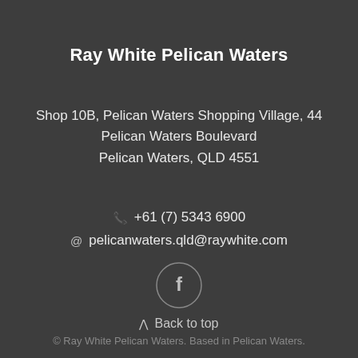Ray White Pelican Waters
Shop 10B, Pelican Waters Shopping Village, 44 Pelican Waters Boulevard
Pelican Waters, QLD 4551
+61 (7) 5343 6900
pelicanwaters.qld@raywhite.com
[Figure (illustration): Facebook logo in a circle outline]
Back to top
© Ray White Pelican Waters. Based in Pelican Waters.